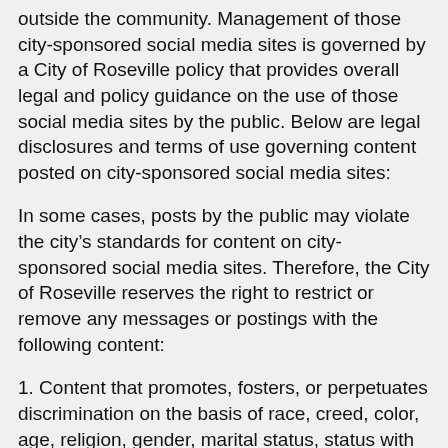outside the community. Management of those city-sponsored social media sites is governed by a City of Roseville policy that provides overall legal and policy guidance on the use of those social media sites by the public. Below are legal disclosures and terms of use governing content posted on city-sponsored social media sites:
In some cases, posts by the public may violate the city’s standards for content on city-sponsored social media sites. Therefore, the City of Roseville reserves the right to restrict or remove any messages or postings with the following content:
1. Content that promotes, fosters, or perpetuates discrimination on the basis of race, creed, color, age, religion, gender, marital status, status with regard to public assistance, national origin, physical or mental disability or sexual orientation.